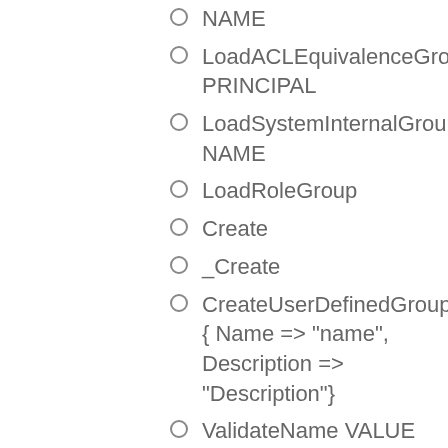NAME
LoadACLEquivalenceGroup PRINCIPAL
LoadSystemInternalGroup NAME
LoadRoleGroup
Create
_Create
CreateUserDefinedGroup { Name => "name", Description => "Description"}
ValidateName VALUE
_ValidateNameForDomain VALUE DOMAIN
_ValidateUserDefinedName VALUE
_CreateACLEquivalenceGroup { Principal }
CreateRoleGroup
ValidateRoleGroup